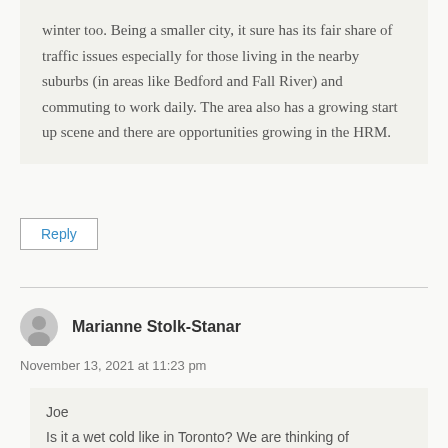winter too. Being a smaller city, it sure has its fair share of traffic issues especially for those living in the nearby suburbs (in areas like Bedford and Fall River) and commuting to work daily. The area also has a growing start up scene and there are opportunities growing in the HRM.
Reply
Marianne Stolk-Stanar
November 13, 2021 at 11:23 pm
Joe
Is it a wet cold like in Toronto? We are thinking of